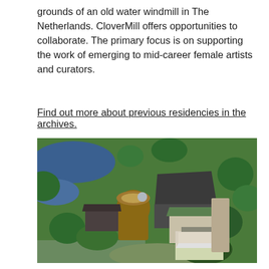grounds of an old water windmill in The Netherlands. CloverMill offers opportunities to collaborate. The primary focus is on supporting the work of emerging to mid-career female artists and curators.
Find out more about previous residencies in the archives.
[Figure (photo): Aerial photograph of CloverMill property showing an old windmill tower surrounded by buildings, gardens, trees, and water/ponds in a rural green landscape.]